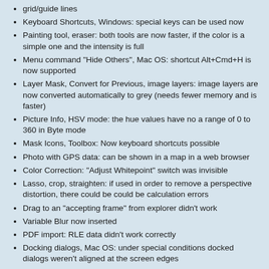grid/guide lines
Keyboard Shortcuts, Windows: special keys can be used now
Painting tool, eraser: both tools are now faster, if the color is a simple one and the intensity is full
Menu command "Hide Others", Mac OS: shortcut Alt+Cmd+H is now supported
Layer Mask, Convert for Previous, image layers: image layers are now converted automatically to grey (needs fewer memory and is faster)
Picture Info, HSV mode: the hue values have no a range of 0 to 360 in Byte mode
Mask Icons, Toolbox: Now keyboard shortcuts possible
Photo with GPS data: can be shown in a map in a web browser
Color Correction: "Adjust Whitepoint" switch was invisible
Lasso, crop, straighten: if used in order to remove a perspective distortion, there could be could be calculation errors
Drag to an "accepting frame" from explorer didn't work
Variable Blur now inserted
PDF import: RLE data didn't work correctly
Docking dialogs, Mac OS: under special conditions docked dialogs weren't aligned at the screen edges
Online help, Mac OS: Calling the online help with help key might have resulted in a crash
Tool tip, undo/redo: the name of the undo/redo step wasn't shown
It was possible to create empty vector layers with the layer move